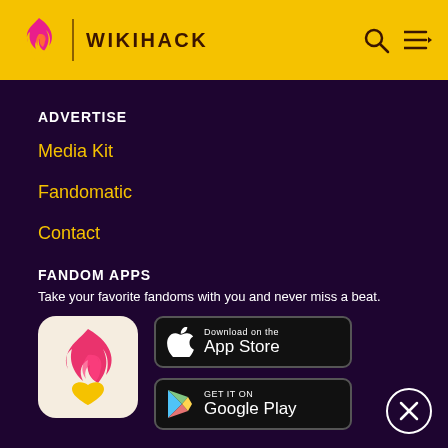WIKIHACK
ADVERTISE
Media Kit
Fandomatic
Contact
FANDOM APPS
Take your favorite fandoms with you and never miss a beat.
[Figure (logo): Fandom app icon: flame with heart shape on beige background]
[Figure (screenshot): Download on the App Store button]
[Figure (screenshot): GET IT ON Google Play button]